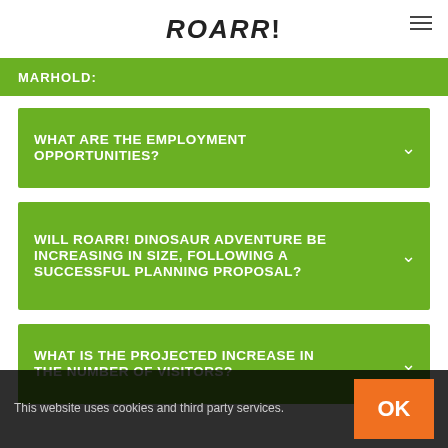ROARR!
MARHOLD:
WHAT ARE THE EMPLOYMENT OPPORTUNITIES?
WILL ROARR! DINOSAUR ADVENTURE BE INCREASING IN SIZE, FOLLOWING A SUCCESSFUL PLANNING PROPOSAL?
WHAT IS THE PROJECTED INCREASE IN THE NUMBER OF VISITORS?
This website uses cookies and third party services.